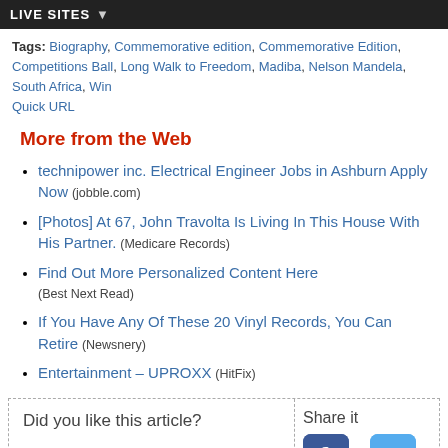LIVE SITES
Tags: Biography, Commemorative edition, Commemorative Edition, Competitions Ball, Long Walk to Freedom, Madiba, Nelson Mandela, South Africa, Win
Quick URL
More from the Web
technipower inc. Electrical Engineer Jobs in Ashburn Apply Now (jobble.com)
[Photos] At 67, John Travolta Is Living In This House With His Partner. (Medicare Records)
Find Out More Personalized Content Here (Best Next Read)
If You Have Any Of These 20 Vinyl Records, You Can Retire (Newsnery)
Entertainment – UPROXX (HitFix)
Did you like this article?
Share it